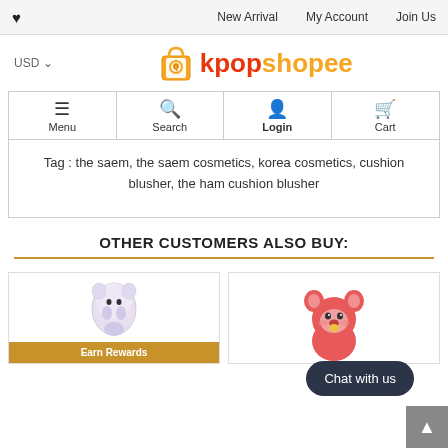♥  New Arrival  My Account  Join Us
[Figure (logo): kpopshopee logo with shopping bag icon, USD currency selector]
[Figure (infographic): Navigation bar with Menu (hamburger), Search (magnifier), Login (person), Cart (shopping cart) icons]
Tag : the saem, the saem cosmetics, korea cosmetics, cushion blusher, the ham cushion blusher
OTHER CUSTOMERS ALSO BUY:
[Figure (photo): Product card with a small plush character image and 'Earn Rewards' badge]
[Figure (photo): Product card with a pink bear/tata BT21 character; Chat with us button overlay; scroll to top button]